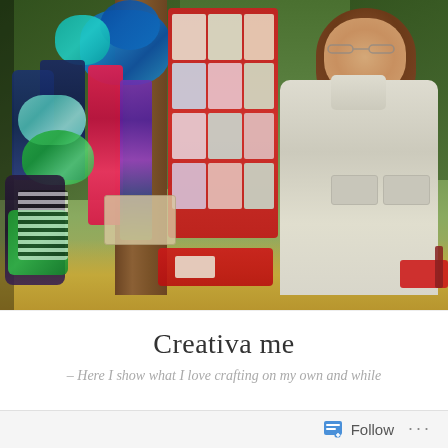[Figure (photo): Woman with glasses and brown hair wearing a white/cream jacket standing outdoors next to a wooden post decorated with colorful knitted and crocheted items including scarves, yarn, and other crafts, with greeting cards displayed on a red backdrop. Autumn leaves visible on ground. Park setting with green trees in background.]
Creativa me
– Here I show what I love crafting on my own and while
Follow ...